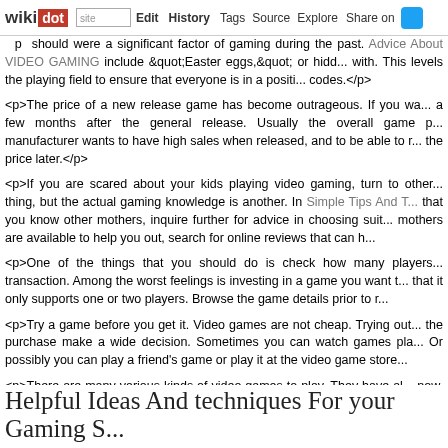wikidot | site Edit History Tags Source Explore Share on [twitter]
<p ...> ... Advice About VIDEO GAMING include "Easter eggs," or hidde... with. This levels the playing field to ensure that everyone is in a positi... codes.</p>
<p>The price of a new release game has become outrageous. If you wa... a few months after the general release. Usually the overall game pr... manufacturer wants to have high sales when released, and to be able to ... the price later.</p>
<p>If you are scared about your kids playing video gaming, turn to other ... thing, but the actual gaming knowledge is another. In Simple Tips And T... that you know other mothers, inquire further for advice in choosing suit... mothers are available to help you out, search for online reviews that can h...
<p>One of the things that you should do is check how many players ... transaction. Among the worst feelings is investing in a game you want t... that it only supports one or two players. Browse the game details prior to ...
<p>Try a game before you get it. Video games are not cheap. Trying out ... the purchase make a wide decision. Sometimes you can watch games pla... Or possibly you can play a friend's game or play it at the video game store...
<p>There are many various kinds of video games to play. They have al... now. From the previous game systems to the more modern ones, vic... maintains drawing people now. The trend will still only continue and ... Comments: 0
Helpful Ideas And techniques For your Gaming S...